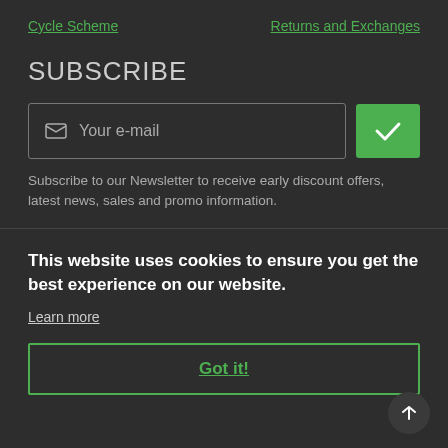Cycle Scheme
Returns and Exchanges
SUBSCRIBE
Your e-mail
Subscribe to our Newsletter to receive early discount offers, latest news, sales and promo information.
This website uses cookies to ensure you get the best experience on our website.
Learn more
Got it!